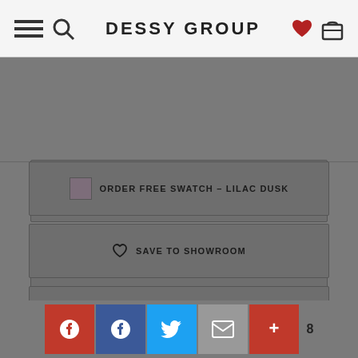DESSY GROUP
ORDER FREE SWATCH – LILAC DUSK
SAVE TO SHOWROOM
CONTACT STYLIST
CONTACT RETAILER
8